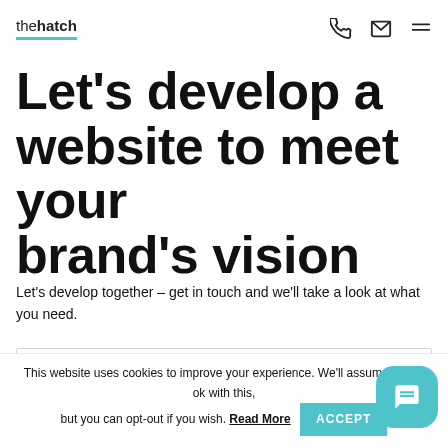thehatch — phone, email, menu icons
Let's develop a website to meet your brand's vision
Let's develop together – get in touch and we'll take a look at what you need.
Name input field
Email input field (partially visible)
This website uses cookies to improve your experience. We'll assume you're ok with this, but you can opt-out if you wish. Read More  ACCEPT